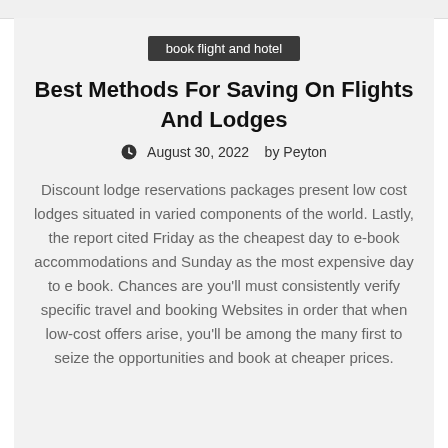book flight and hotel
Best Methods For Saving On Flights And Lodges
August 30, 2022   by Peyton
Discount lodge reservations packages present low cost lodges situated in varied components of the world. Lastly, the report cited Friday as the cheapest day to e-book accommodations and Sunday as the most expensive day to e book. Chances are you'll must consistently verify specific travel and booking Websites in order that when low-cost offers arise, you'll be among the many first to seize the opportunities and book at cheaper prices.